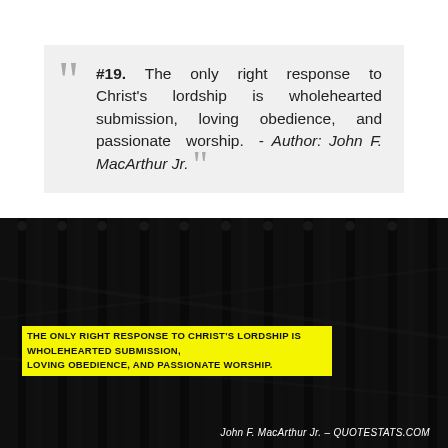#19. The only right response to Christ's lordship is wholehearted submission, loving obedience, and passionate worship. - Author: John F. MacArthur Jr.
[Figure (photo): Dark photo of iron fence bars/gate with a yellow highlighted quote overlay at the bottom reading 'THE ONLY RIGHT RESPONSE TO CHRIST'S LORDSHIP IS WHOLEHEARTED SUBMISSION, LOVING OBEDIENCE, AND PASSIONATE WORSHIP.' and attribution 'John F. MacArthur Jr. - QUOTESTATS.COM']